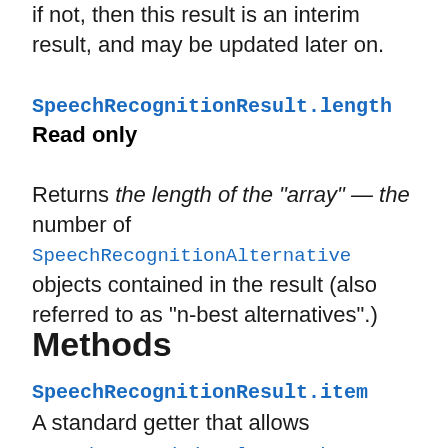if not, then this result is an interim result, and may be updated later on.
SpeechRecognitionResult.length Read only
Returns the length of the "array" — the number of SpeechRecognitionAlternative objects contained in the result (also referred to as "n-best alternatives".)
Methods
SpeechRecognitionResult.item
A standard getter that allows SpeechRecognitionAlternative objects